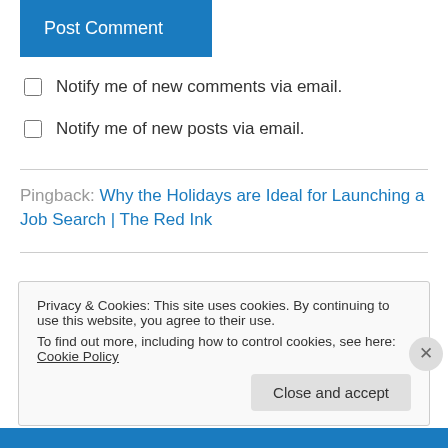Post Comment
Notify me of new comments via email.
Notify me of new posts via email.
Pingback: Why the Holidays are Ideal for Launching a Job Search | The Red Ink
Privacy & Cookies: This site uses cookies. By continuing to use this website, you agree to their use.
To find out more, including how to control cookies, see here: Cookie Policy
Close and accept